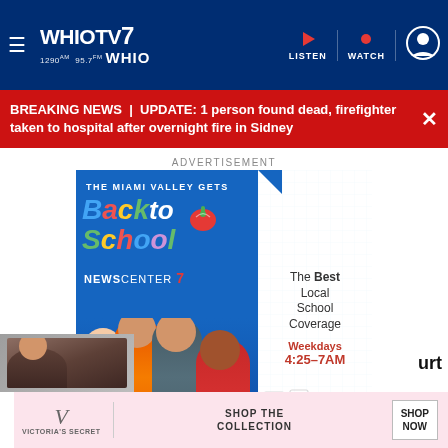WHIO TV 7 | 1290AM 95.7FM WHIO | LISTEN | WATCH
BREAKING NEWS | UPDATE: 1 person found dead, firefighter taken to hospital after overnight fire in Sidney
ADVERTISEMENT
[Figure (photo): Back to School ad - The Miami Valley Gets Back to School, NewsCenter 7, The Best Local School Coverage Weekdays 4:25-7AM, with news anchors photo]
Most Trending
[Figure (photo): Victoria's Secret advertisement - Shop The Collection, Shop Now]